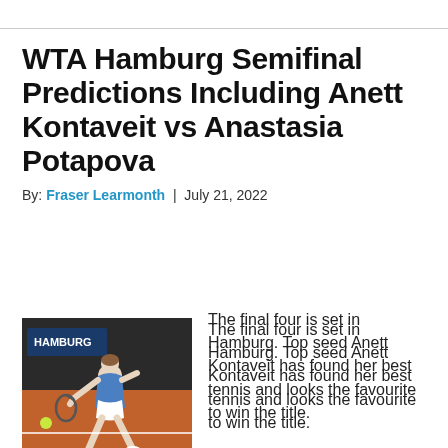WTA Hamburg Semifinal Predictions Including Anett Kontaveit vs Anastasia Potapova
By: Fraser Learmonth | July 21, 2022
[Figure (photo): Female tennis player in action on a clay court, lunging forward to hit a ball, wearing a blue outfit, with a stadium/advertising board background]
The final four is set in Hamburg. Top seed Anett Kontaveit has found her best tennis and looks the favourite to win the title. However, the likes of Budapest champion Bernarda Pera and young Russian star Anastasia Potapova will surely have something to say about that. In this set of